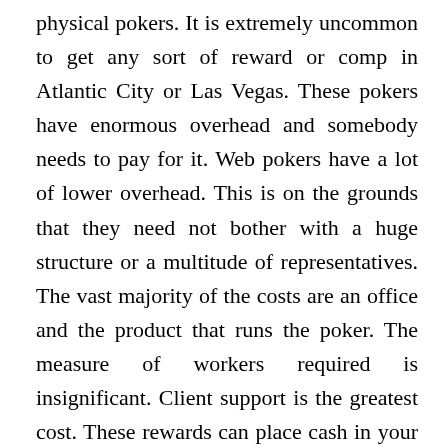physical pokers. It is extremely uncommon to get any sort of reward or comp in Atlantic City or Las Vegas. These pokers have enormous overhead and somebody needs to pay for it. Web pokers have a lot of lower overhead. This is on the grounds that they need not bother with a huge structure or a multitude of representatives. The vast majority of the costs are an office and the product that runs the poker. The measure of workers required is insignificant. Client support is the greatest cost. These rewards can place cash in your pocket in the event that you realize what you are doing. You should see how every extra function so as to benefit from them. Every poker has various offers and there are regularly controls on the best way to gather these rewards. It is critical to peruse the fine print. The